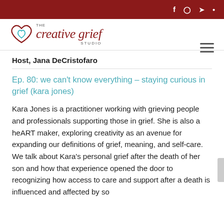f  IG  twitter  pinterest
[Figure (logo): The Creative Grief Studio logo with heart icon]
Host, Jana DeCristofaro
Ep. 80: we can't know everything – staying curious in grief (kara jones)
Kara Jones is a practitioner working with grieving people and professionals supporting those in grief. She is also a heART maker, exploring creativity as an avenue for expanding our definitions of grief, meaning, and self-care. We talk about Kara's personal grief after the death of her son and how that experience opened the door to recognizing how access to care and support after a death is influenced and affected by so